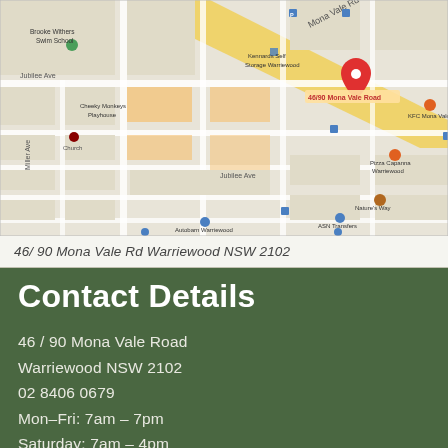[Figure (map): Google Maps screenshot showing the location of 46/90 Mona Vale Road, Warriewood NSW 2102, with surrounding streets and landmarks including Kennards Self Storage Warriewood, KFC Mona Vale, Pizza Capanna Warriewood, Nature's Way, Autobarn Warriewood, ASN Transfers, Feeling Inspired, Land & Sea Sports Pty, and Cheeky Monkeys Playhouse.]
46/ 90 Mona Vale Rd Warriewood NSW 2102
Contact Details
46 / 90 Mona Vale Road
Warriewood NSW 2102
02 8406 0679
Mon–Fri: 7am – 7pm
Saturday: 7am – 4pm